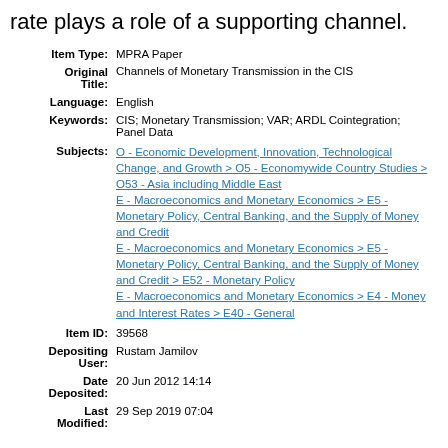rate plays a role of a supporting channel.
| Field | Value |
| --- | --- |
| Item Type: | MPRA Paper |
| Original Title: | Channels of Monetary Transmission in the CIS |
| Language: | English |
| Keywords: | CIS; Monetary Transmission; VAR; ARDL Cointegration; Panel Data |
| Subjects: | O - Economic Development, Innovation, Technological Change, and Growth > O5 - Economywide Country Studies > O53 - Asia including Middle East
E - Macroeconomics and Monetary Economics > E5 - Monetary Policy, Central Banking, and the Supply of Money and Credit
E - Macroeconomics and Monetary Economics > E5 - Monetary Policy, Central Banking, and the Supply of Money and Credit > E52 - Monetary Policy
E - Macroeconomics and Monetary Economics > E4 - Money and Interest Rates > E40 - General |
| Item ID: | 39568 |
| Depositing User: | Rustam Jamilov |
| Date Deposited: | 20 Jun 2012 14:14 |
| Last Modified: | 29 Sep 2019 07:04 |
Acosta-Ormaechea, S., and Coble, D. (2011). Monetary transmission in dollarized and non-dollarized economies: The cases of Chile, New Zealand, Peru and Uruguay. IMF Working Paper No.11/87.